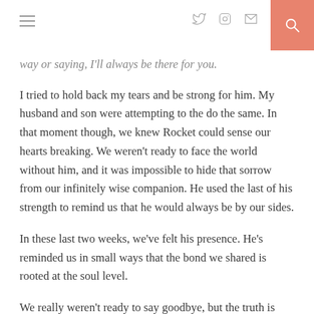Navigation header with hamburger menu, social icons (Twitter, Instagram, Email), and search button
way or saying, I'll always be there for you.
I tried to hold back my tears and be strong for him. My husband and son were attempting to the do the same. In that moment though, we knew Rocket could sense our hearts breaking. We weren't ready to face the world without him, and it was impossible to hide that sorrow from our infinitely wise companion. He used the last of his strength to remind us that he would always be by our sides.
In these last two weeks, we've felt his presence. He's reminded us in small ways that the bond we shared is rooted at the soul level.
We really weren't ready to say goodbye, but the truth is forever wouldn't have been long enough to have him by our sides. While we still long to see his smile waiting at the